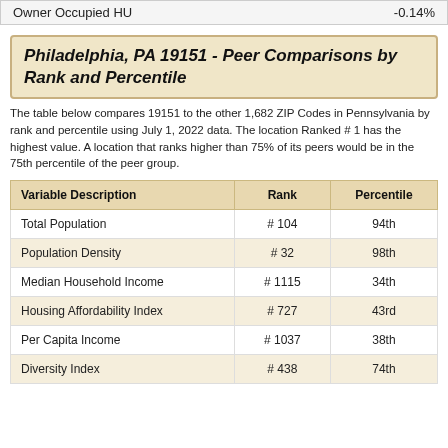|  | -0.14% |
| --- | --- |
| Owner Occupied HU | -0.14% |
Philadelphia, PA 19151 - Peer Comparisons by Rank and Percentile
The table below compares 19151 to the other 1,682 ZIP Codes in Pennsylvania by rank and percentile using July 1, 2022 data. The location Ranked # 1 has the highest value. A location that ranks higher than 75% of its peers would be in the 75th percentile of the peer group.
| Variable Description | Rank | Percentile |
| --- | --- | --- |
| Total Population | # 104 | 94th |
| Population Density | # 32 | 98th |
| Median Household Income | # 1115 | 34th |
| Housing Affordability Index | # 727 | 43rd |
| Per Capita Income | # 1037 | 38th |
| Diversity Index | # 438 | 74th |